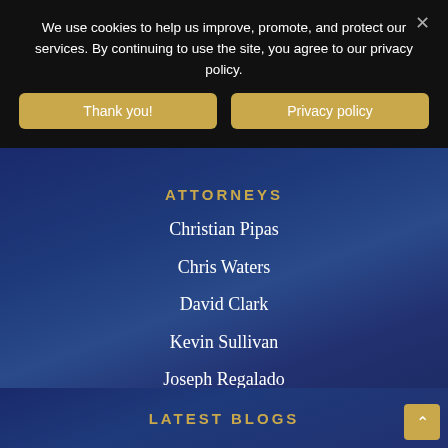We use cookies to help us improve, promote, and protect our services. By continuing to use the site, you agree to our privacy policy.
Thank you!
Privacy policy
ATTORNEYS
Christian Pipas
Chris Waters
David Clark
Kevin Sullivan
Joseph Regalado
LATEST BLOGS